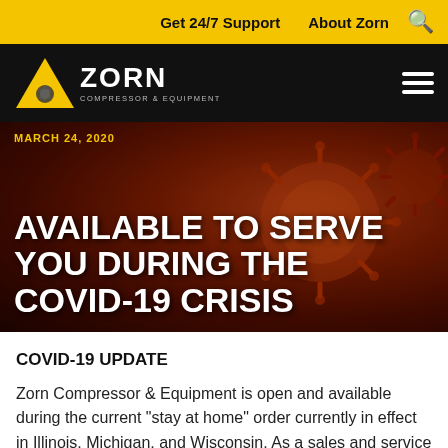Get 24/7 Support   About Zorn
[Figure (logo): Zorn Compressor & Equipment logo — yellow triangle with gear/fan icon, white ZORN text, tagline COMPRESSOR & EQUIPMENT]
MARCH 24, 2020
AVAILABLE TO SERVE YOU DURING THE COVID-19 CRISIS
COVID-19 UPDATE
Zorn Compressor & Equipment is open and available during the current "stay at home" order currently in effect in Illinois, Michigan, and Wisconsin. As a sales and service provider for equipment operating in essential industries such as medical, packaging, and